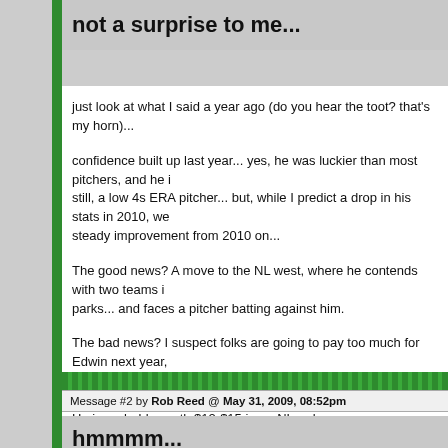not a surprise to me...
just look at what I said a year ago (do you hear the toot? that's my horn)...
confidence built up last year... yes, he was luckier than most pitchers, and he is still, a low 4s ERA pitcher... but, while I predict a drop in his stats in 2010, we steady improvement from 2010 on...
The good news? A move to the NL west, where he contends with two teams in parks... and faces a pitcher batting against him.
The bad news? I suspect folks are going to pay too much for Edwin next year, note, I offer a warning... anything more than $8 for Edwin in a multi-league is He is probably worth $12-$15 in an NL-only.
Message #2 by Rob Reed @ May 31, 2009, 08:52pm
hmmmm...
are you paying attention? he has been pretty darn good...